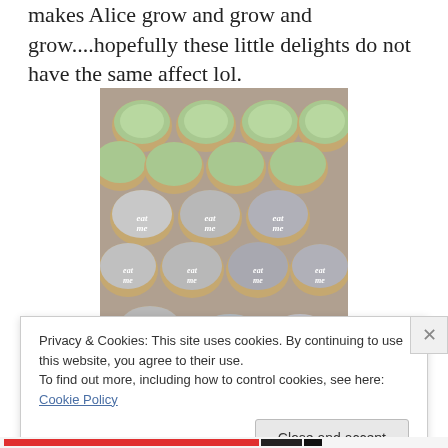makes Alice grow and grow and grow....hopefully these little delights do not have the same affect lol.
[Figure (photo): A baking tray filled with round decorated cookies/biscuits. The top rows have green icing with floral decorations, while the lower rows have grey/white icing with 'eat me' written in cursive white icing on each cookie.]
Privacy & Cookies: This site uses cookies. By continuing to use this website, you agree to their use.
To find out more, including how to control cookies, see here: Cookie Policy
Close and accept